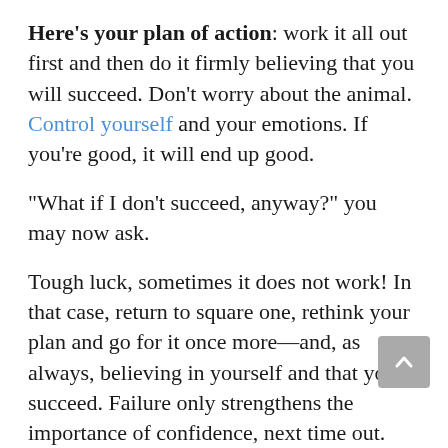Here's your plan of action: work it all out first and then do it firmly believing that you will succeed. Don't worry about the animal. Control yourself and your emotions. If you're good, it will end up good.
“What if I don’t succeed, anyway?” you may now ask.
Tough luck, sometimes it does not work! In that case, return to square one, rethink your plan and go for it once more—and, as always, believing in yourself and that you’ll succeed. Failure only strengthens the importance of confidence, next time out.
Enjoy your training—but, first and foremost, enjoy your discipline with...